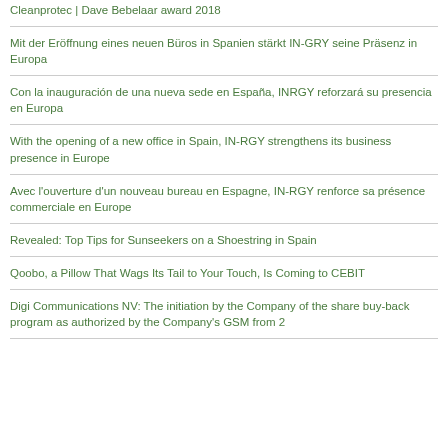Cleanprotec | Dave Bebelaar award 2018
Mit der Eröffnung eines neuen Büros in Spanien stärkt IN-GRY seine Präsenz in Europa
Con la inauguración de una nueva sede en España, INRGY reforzará su presencia en Europa
With the opening of a new office in Spain, IN-RGY strengthens its business presence in Europe
Avec l'ouverture d'un nouveau bureau en Espagne, IN-RGY renforce sa présence commerciale en Europe
Revealed: Top Tips for Sunseekers on a Shoestring in Spain
Qoobo, a Pillow That Wags Its Tail to Your Touch, Is Coming to CEBIT
Digi Communications NV: The initiation by the Company of the share buy-back program as authorized by the Company's GSM from 2